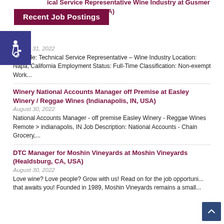Recent Job Postings
Technical Service Representative Wine Industry at Gusmer Enterprises (Napa, CA, USA)
August 31, 2022
Job Title: Technical Service Representative – Wine Industry Location: Napa, California Employment Status: Full-Time Classification: Non-exempt Work...
Winery National Accounts Manager off Premise at Easley Winery / Reggae Wines (Indianapolis, IN, USA)
August 30, 2022
National Accounts Manager - off premise Easley Winery - Reggae Wines Remote > indianapolis, IN Job Description: National Accounts - Chain Grocery,...
DTC Manager for Moshin Vineyards at Moshin Vineyards (Healdsburg, CA, USA)
August 30, 2022
Love wine? Love people? Grow with us! Read on for the job opportunity that awaits you! Founded in 1989, Moshin Vineyards remains a small...